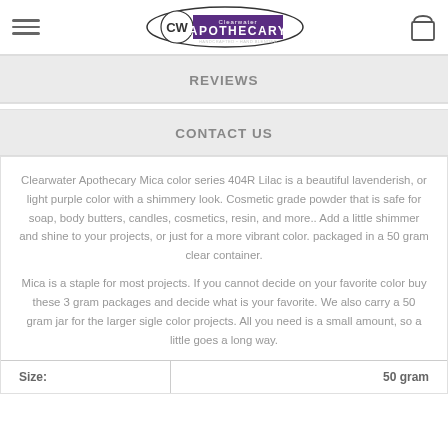Clearwater Apothecary logo header with hamburger menu and shopping bag icon
REVIEWS
CONTACT US
Clearwater Apothecary Mica color series 404R Lilac is a beautiful lavenderish, or light purple color with a shimmery look. Cosmetic grade powder that is safe for soap, body butters, candles, cosmetics, resin, and more..  Add a little shimmer and shine to your projects, or just for a more vibrant color. packaged in a 50 gram clear container.
Mica is a staple for most projects. If you cannot decide on your favorite color buy these 3 gram packages and decide what is your favorite. We also carry a 50 gram jar for the larger sigle color projects. All you need is a small amount, so a little goes a long way.
| Size: | 50 gram |
| --- | --- |